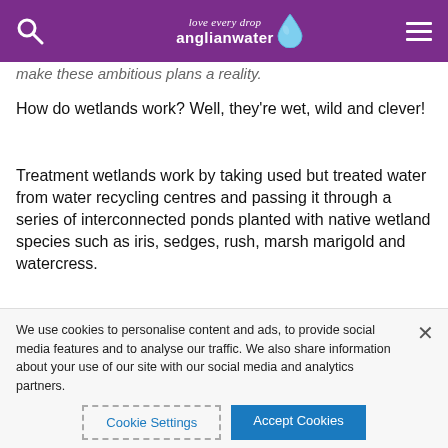love every drop anglianwater
make these ambitious plans a reality.
How do wetlands work? Well, they're wet, wild and clever!
Treatment wetlands work by taking used but treated water from water recycling centres and passing it through a series of interconnected ponds planted with native wetland species such as iris, sedges, rush, marsh marigold and watercress.
The wetland plants naturally clean the water, removing ammonia and phosphate before it goes
We use cookies to personalise content and ads, to provide social media features and to analyse our traffic. We also share information about your use of our site with our social media and analytics partners.